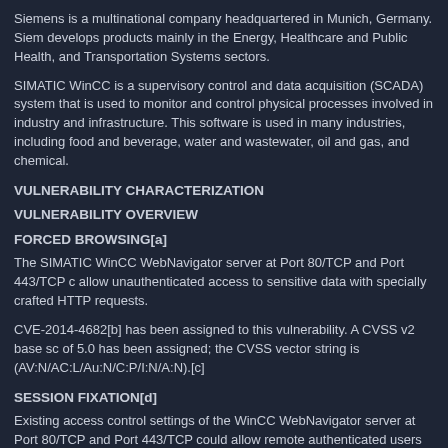Siemens is a multinational company headquartered in Munich, Germany. Siemens develops products mainly in the Energy, Healthcare and Public Health, and Transportation Systems sectors.
SIMATIC WinCC is a supervisory control and data acquisition (SCADA) system that is used to monitor and control physical processes involved in industry and infrastructure. This software is used in many industries, including food and beverage, water and wastewater, oil and gas, and chemical.
VULNERABILITY CHARACTERIZATION
VULNERABILITY OVERVIEW
FORCED BROWSING[a]
The SIMATIC WinCC WebNavigator server at Port 80/TCP and Port 443/TCP could allow unauthenticated access to sensitive data with specially crafted HTTP requests.
CVE-2014-4682[b] has been assigned to this vulnerability. A CVSS v2 base score of 5.0 has been assigned; the CVSS vector string is (AV:N/AC:L/Au:N/C:P/I:N/A:N).[c]
SESSION FIXATION[d]
Existing access control settings of the WinCC WebNavigator server at Port 80/TCP and Port 443/TCP could allow remote authenticated users to escalate their privileges in WinCC.
CVE-2014-4683[e] has been assigned to this vulnerability. A CVSS v2 base score of 4.9 has been assigned; the CVSS vector string is (AV:N/AC:M/Au:S/C:P/I:P/A:N).[f]